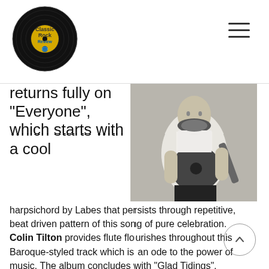Classic Rock Review
returns fully on “Everyone”, which starts with a cool harpsichord by Labes that persists through repetitive, beat driven pattern of this song of pure celebration. Colin Tilton provides flute flourishes throughout this Baroque-styled track which is an ode to the power of music. The album concludes with “Glad Tidings”, featuring the most pronounced
[Figure (photo): Black and white photo of a man playing an acoustic guitar, wearing a white shirt, with a beard, looking down at the guitar.]